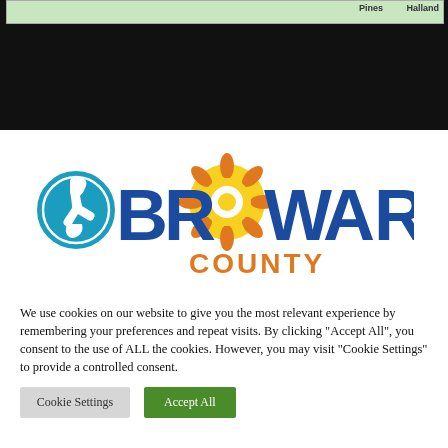[Figure (map): Partial map screenshot showing 'Pines' and 'Halland' place labels on a street map, shown at top of page against a dark background.]
[Figure (logo): Broward County logo with accessibility icon (wheelchair symbol in blue circle) and large 'BROWARD' text in blue with orange sun/wheel graphic replacing the 'O'.]
We use cookies on our website to give you the most relevant experience by remembering your preferences and repeat visits. By clicking “Accept All”, you consent to the use of ALL the cookies. However, you may visit "Cookie Settings" to provide a controlled consent.
Cookie Settings | Accept All